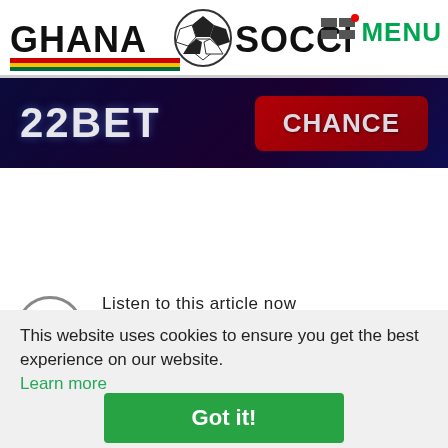GHANA SOCCERNET MENU
[Figure (screenshot): 22BET advertisement banner with dark blue/purple background and CHANCE button in red]
[Figure (screenshot): Audio player widget: Listen to this article now, Powered by Trinity Audio, 00:00 / 03:25]
This website uses cookies to ensure you get the best experience on our website. Learn more
Got it!